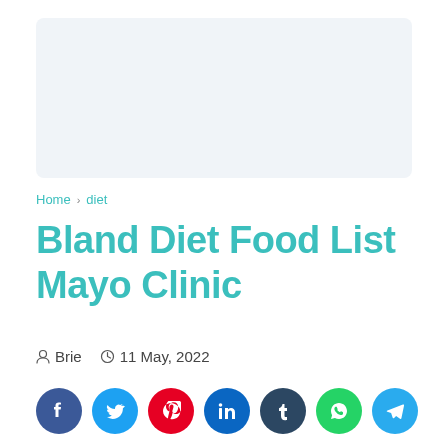[Figure (other): Advertisement banner placeholder (light blue-gray rectangle)]
Home › diet
Bland Diet Food List Mayo Clinic
Brie   11 May, 2022
[Figure (infographic): Row of 7 social sharing buttons: Facebook (dark blue), Twitter (light blue), Pinterest (red), LinkedIn (dark blue), Tumblr (very dark blue), WhatsApp (green), Telegram (light blue)]